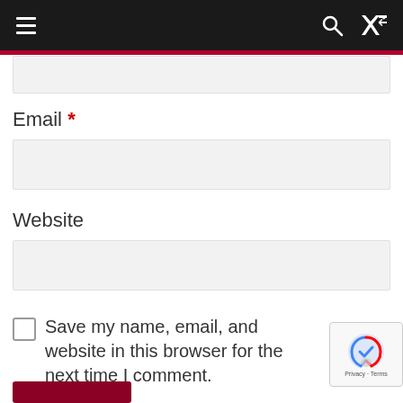Navigation bar with hamburger menu, search icon, and shuffle icon
Email *
Website
Save my name, email, and website in this browser for the next time I comment.